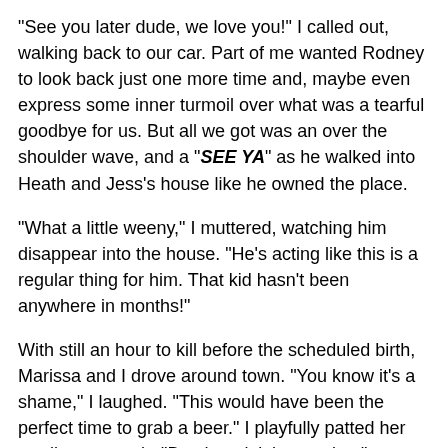"See you later dude, we love you!" I called out, walking back to our car. Part of me wanted Rodney to look back just one more time and, maybe even express some inner turmoil over what was a tearful goodbye for us. But all we got was an over the shoulder wave, and a "SEE YA" as he walked into Heath and Jess's house like he owned the place.
"What a little weeny," I muttered, watching him disappear into the house. "He's acting like this is a regular thing for him. That kid hasn't been anywhere in months!"
With still an hour to kill before the scheduled birth, Marissa and I drove around town. "You know it's a shame," I laughed. "This would have been the perfect time to grab a beer." I playfully patted her swollen stomach. "But that ain't happening."
"I could go for a donut," blurted out Marissa.
"Say no more!" I replied, whipping the wheel into the drive